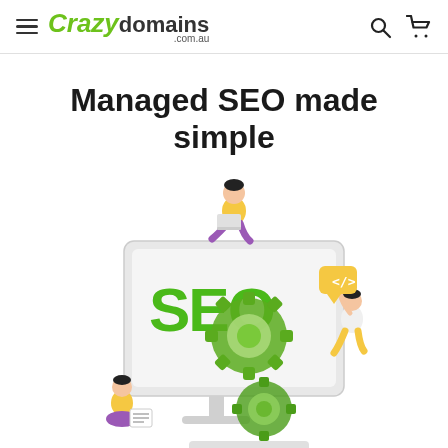Crazy domains .com.au — navigation bar with hamburger menu, search and cart icons
Managed SEO made simple
[Figure (illustration): Isometric illustration of a desktop monitor displaying 'SEO' in large green letters with a gear/cog overlay. A person in yellow top and purple pants sits on top of the monitor using a laptop. Another person in white top and yellow pants floats to the right reaching up toward a yellow speech bubble with code brackets symbol. A third person in a yellow outfit sits at the bottom left examining a document. Two green interlocking gears are positioned in front of and below the monitor, sitting on a white platform/pedestal. The overall color palette is light grey, white, and green.]